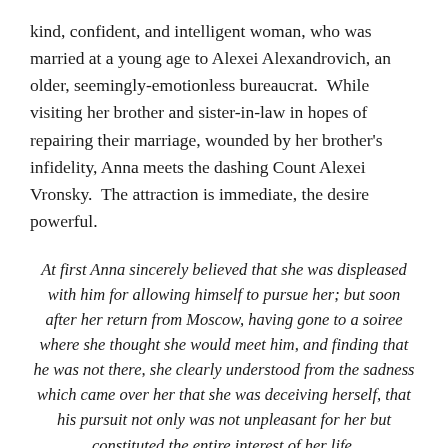kind, confident, and intelligent woman, who was married at a young age to Alexei Alexandrovich, an older, seemingly-emotionless bureaucrat.  While visiting her brother and sister-in-law in hopes of repairing their marriage, wounded by her brother's infidelity, Anna meets the dashing Count Alexei Vronsky.  The attraction is immediate, the desire powerful.
At first Anna sincerely believed that she was displeased with him for allowing himself to pursue her; but soon after her return from Moscow, having gone to a soiree where she thought she would meet him, and finding that he was not there, she clearly understood from the sadness which came over her that she was deceiving herself, that his pursuit not only was not unpleasant for her but constituted the entire interest of her life.